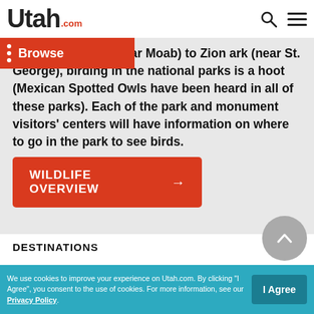Utah.com
ds National Park (near Moab) to Zion ark (near St. George), birding in the national parks is a hoot (Mexican Spotted Owls have been heard in all of these parks). Each of the park and monument visitors' centers will have information on where to go in the park to see birds.
WILDLIFE OVERVIEW →
DESTINATIONS
National Parks
National Monuments
We use cookies to improve your experience on Utah.com. By clicking "I Agree", you consent to the use of cookies. For more information, see our Privacy Policy.